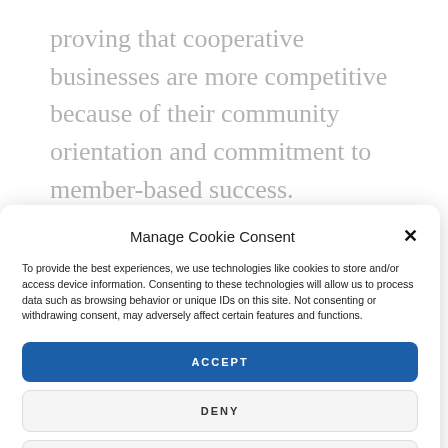proving that cooperative businesses are more competitive because of their community orientation and commitment to member-based success.
Manage Cookie Consent
To provide the best experiences, we use technologies like cookies to store and/or access device information. Consenting to these technologies will allow us to process data such as browsing behavior or unique IDs on this site. Not consenting or withdrawing consent, may adversely affect certain features and functions.
ACCEPT
DENY
VIEW PREFERENCES
Cookie Policy   Cookie Policy